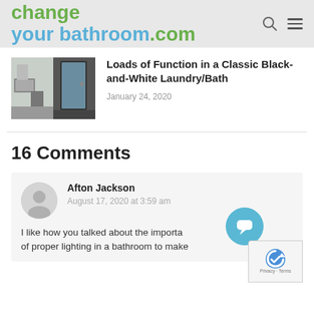changeyourbathroom.com
Loads of Function in a Classic Black-and-White Laundry/Bath
January 24, 2020
16 Comments
Afton Jackson
August 17, 2020 at 3:59 am
I like how you talked about the importa... of proper lighting in a bathroom to make